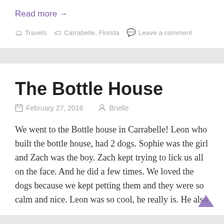Read more →
Travels  Carrabelle, Florida  Leave a comment
The Bottle House
February 27, 2016   Brielle
We went to the Bottle house in Carrabelle! Leon who built the bottle house, had 2 dogs. Sophie was the girl and Zach was the boy. Zach kept trying to lick us all on the face. And he did a few times. We loved the dogs because we kept petting them and they were so calm and nice. Leon was so cool, he really is. He also